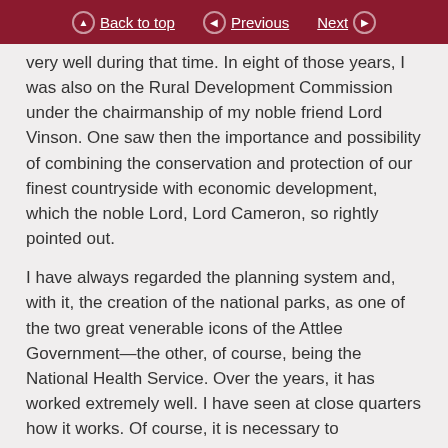Back to top | Previous | Next
very well during that time. In eight of those years, I was also on the Rural Development Commission under the chairmanship of my noble friend Lord Vinson. One saw then the importance and possibility of combining the conservation and protection of our finest countryside with economic development, which the noble Lord, Lord Cameron, so rightly pointed out.
I have always regarded the planning system and, with it, the creation of the national parks, as one of the two great venerable icons of the Attlee Government—the other, of course, being the National Health Service. Over the years, it has worked extremely well. I have seen at close quarters how it works. Of course, it is necessary to